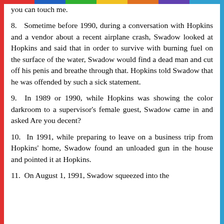you can touch me.
8.  Sometime before 1990, during a conversation with Hopkins and a vendor about a recent airplane crash, Swadow looked at Hopkins and said that in order to survive with burning fuel on the surface of the water, Swadow would find a dead man and cut off his penis and breathe through that. Hopkins told Swadow that he was offended by such a sick statement.
9.  In 1989 or 1990, while Hopkins was showing the color darkroom to a supervisor's female guest, Swadow came in and asked Are you decent?
10.  In 1991, while preparing to leave on a business trip from Hopkins' home, Swadow found an unloaded gun in the house and pointed it at Hopkins.
11.  On August 1, 1991, Swadow squeezed into the...